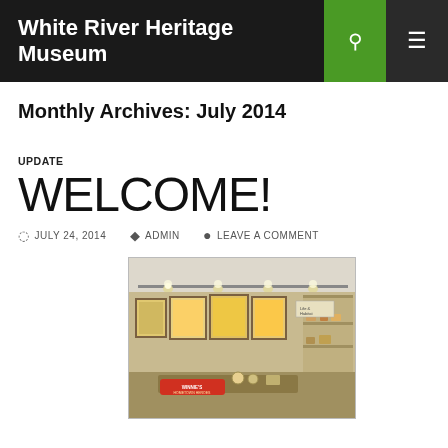White River Heritage Museum
Monthly Archives: July 2014
UPDATE
WELCOME!
JULY 24, 2014   ADMIN   LEAVE A COMMENT
[Figure (photo): Interior of the White River Heritage Museum showing framed artwork and posters on walls, display shelves, track lighting, and a Winnie the Pooh themed exhibit area]